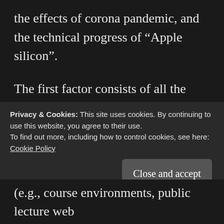the effects of corona pandemic, and the technical progress of “Apple silicon”.
The first factor consists of all the cumulative effects that are results from three years of remote and hybrid work. The requirements for fast and reliable systems that can support multitasking, video and audio really well are of paramount importance now. The hybrid meeting and teaching situations are particularly complex, as there is now need to
Privacy & Cookies: This site uses cookies. By continuing to use this website, you agree to their use.
To find out more, including how to control cookies, see here:
Cookie Policy
Close and accept
(e.g., course environments, public lecture web